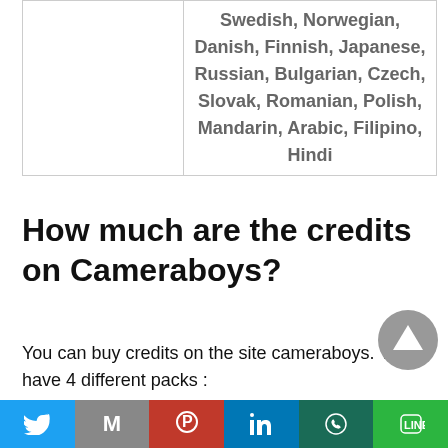|  | Swedish, Norwegian, Danish, Finnish, Japanese, Russian, Bulgarian, Czech, Slovak, Romanian, Polish, Mandarin, Arabic, Filipino, Hindi |
How much are the credits on Cameraboys?
You can buy credits on the site cameraboys. You have 4 different packs :
27.99 credits for $21.99
[Figure (other): Social sharing bar with Twitter, Gmail, Pinterest, LinkedIn, WhatsApp, and Line buttons]